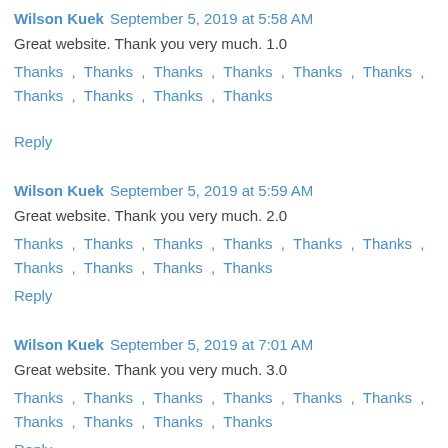Wilson Kuek  September 5, 2019 at 5:58 AM
Great website. Thank you very much. 1.0
Thanks , Thanks , Thanks , Thanks , Thanks , Thanks , Thanks , Thanks , Thanks , Thanks
Reply
Wilson Kuek  September 5, 2019 at 5:59 AM
Great website. Thank you very much. 2.0
Thanks , Thanks , Thanks , Thanks , Thanks , Thanks , Thanks , Thanks , Thanks , Thanks
Reply
Wilson Kuek  September 5, 2019 at 7:01 AM
Great website. Thank you very much. 3.0
Thanks , Thanks , Thanks , Thanks , Thanks , Thanks , Thanks , Thanks , Thanks , Thanks
Reply